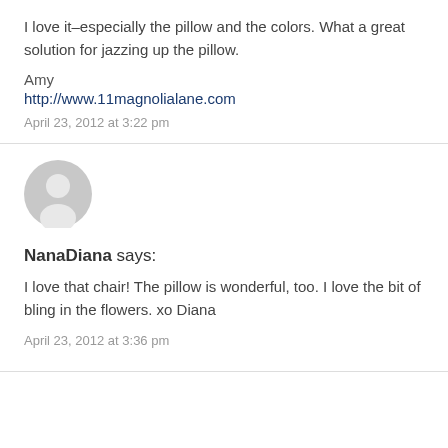I love it–especially the pillow and the colors. What a great solution for jazzing up the pillow.
Amy
http://www.11magnolialane.com
April 23, 2012 at 3:22 pm
[Figure (illustration): Generic user avatar: a grey silhouette of a person in a circle]
NanaDiana says:
I love that chair! The pillow is wonderful, too. I love the bit of bling in the flowers. xo Diana
April 23, 2012 at 3:36 pm